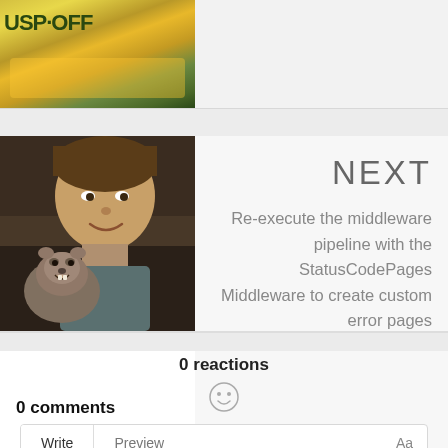[Figure (photo): Partially visible image at top with yellow/green colors, text partially visible reading 'USP·OFF']
[Figure (photo): Photo of a man holding a groundhog, appears to be from the movie Groundhog Day]
NEXT
Re-execute the middleware pipeline with the StatusCodePages Middleware to create custom error pages
0 reactions
[Figure (other): Smiley face emoji icon (reaction button)]
0 comments
Write    Preview    Aa